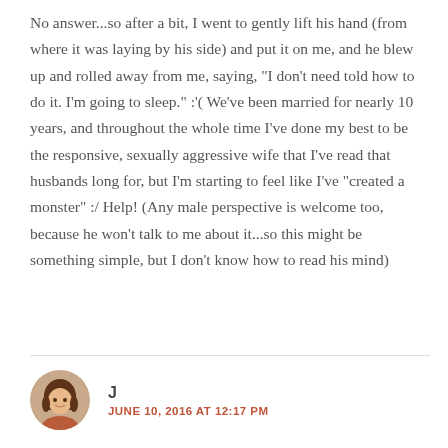No answer...so after a bit, I went to gently lift his hand (from where it was laying by his side) and put it on me, and he blew up and rolled away from me, saying, "I don't need told how to do it. I'm going to sleep." :'( We've been married for nearly 10 years, and throughout the whole time I've done my best to be the responsive, sexually aggressive wife that I've read that husbands long for, but I'm starting to feel like I've "created a monster" :/ Help! (Any male perspective is welcome too, because he won't talk to me about it...so this might be something simple, but I don't know how to read his mind)
J
JUNE 10, 2016 AT 12:17 PM